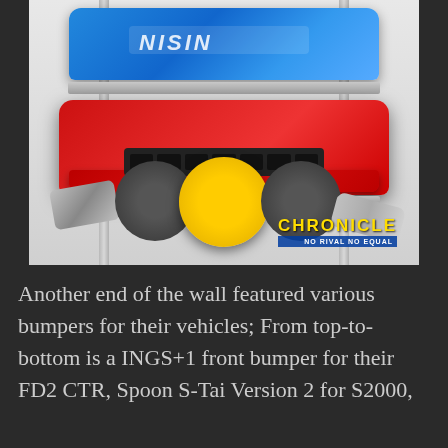[Figure (photo): Photo of car bumpers on a storage wall rack. A blue bumper labeled NISSIN is on top shelf, a large red bumper is on the middle shelf, and at the bottom are dark wheels, yellow-painted wheels, and exhaust pipes. A Chronicle watermark with text 'NO RIVAL NO EQUAL' is overlaid in the bottom-right corner.]
Another end of the wall featured various bumpers for their vehicles; From top-to-bottom is a INGS+1 front bumper for their FD2 CTR, Spoon S-Tai Version 2 for S2000,